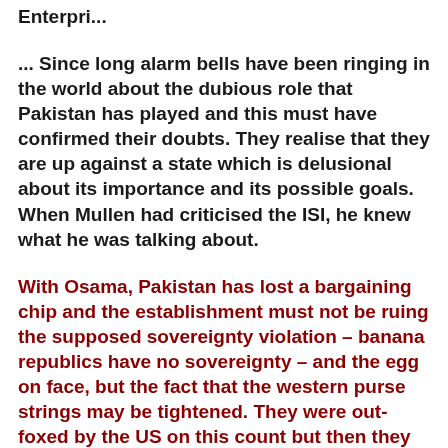Enterpri...
... Since long alarm bells have been ringing in the world about the dubious role that Pakistan has played and this must have confirmed their doubts. They realise that they are up against a state which is delusional about its importance and its possible goals. When Mullen had criticised the ISI, he knew what he was talking about.
With Osama, Pakistan has lost a bargaining chip and the establishment must not be ruing the supposed sovereignty violation – banana republics have no sovereignty – and the egg on face, but the fact that the western purse strings may be tightened. They were out-foxed by the US on this count but then they still hope to play the Haqqani card and continue to prosper.
There always has been much ado in the establishment here about the sanctity of sovereignty and their determination to defend it. This US operation showed that even on the...